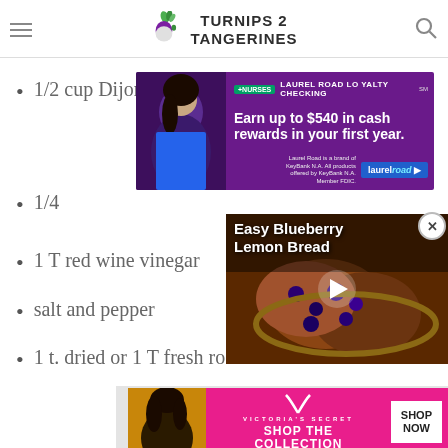TURNIPS 2 TANGERINES
1/2 cup Dijon mustard
[Figure (other): Advertisement banner: Laurel Road Loyalty Checking - Earn up to $540 in cash rewards in your first year.]
1/4 [partially obscured by ad]
1 T red wine vinegar
salt and pepper
1 t. dried or 1 T fresh ro[semarry - partially obscured]
[Figure (other): Video player overlay showing Easy Blueberry Lemon Bread with a play button, and a close (X) button in the top right corner.]
[Figure (other): Gray advertisement placeholder block with a CLOSE button.]
[Figure (other): Victoria's Secret advertisement banner: SHOP THE COLLECTION, SHOP NOW button.]